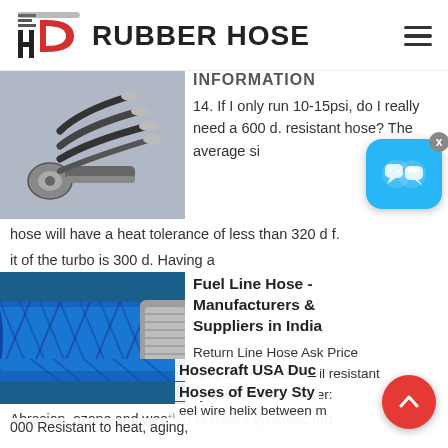HD RUBBER HOSE
INFORMATION
14. If I only run 10-15psi, do I really need a 600 d. resistant hose? The average si hose will have a heat tolerance of less than 320 d f.
[Figure (photo): Hydraulic hose fittings and hose ends]
it of the turbo is 300 d. Having a
Fuel Line Hose - Manufacturers & Suppliers in India
[Figure (photo): Blue braided fuel line rubber hose with metal end fitting]
Return Line Hose Ask Price
SAE 100 R4 Liner: Oil resistant
synthetic rubber Cover:
Abrasion, ozone and weather resistant synthetic rub
Hosecraft USA Duc Hoses of Every Sty
eel wire helix between m
000 Resistant to heat, aging,